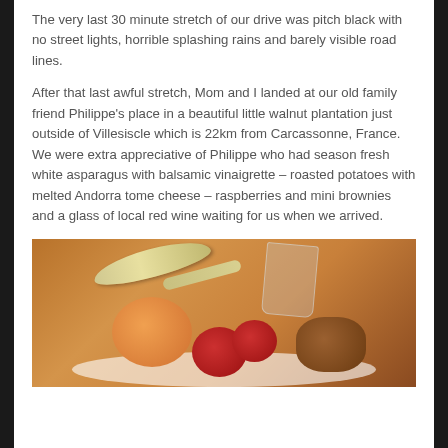The very last 30 minute stretch of our drive was pitch black with no street lights, horrible splashing rains and barely visible road lines.
After that last awful stretch, Mom and I landed at our old family friend Philippe's place in a beautiful little walnut plantation just outside of Villesiscle which is 22km from Carcassonne, France. We were extra appreciative of Philippe who had season fresh white asparagus with balsamic vinaigrette – roasted potatoes with melted Andorra tome cheese – raspberries and mini brownies and a glass of local red wine waiting for us when we arrived.
[Figure (photo): A close-up food photo showing a spoon, wine glass, orange and red round food items (possibly fruits or desserts), and a brown baked item on a white surface, photographed in warm dim lighting.]